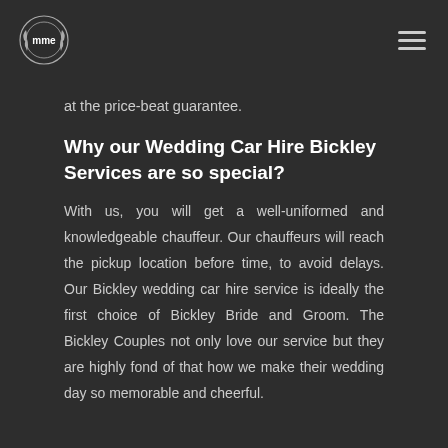MME logo and navigation hamburger menu
at the price-beat guarantee.
Why our Wedding Car Hire Bickley Services are so special?
With us, you will get a well-uniformed and knowledgeable chauffeur. Our chauffeurs will reach the pickup location before time, to avoid delays. Our Bickley wedding car hire service is ideally the first choice of Bickley Bride and Groom. The Bickley Couples not only love our service but they are highly fond of that how we make their wedding day so memorable and cheerful.